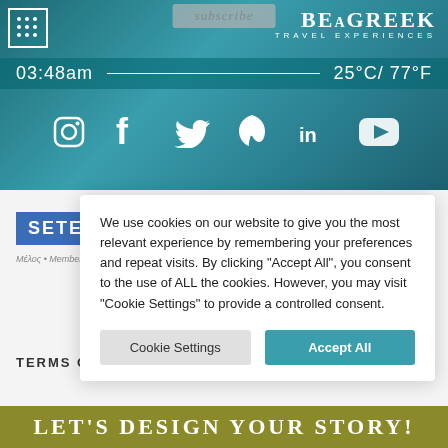[Figure (screenshot): BeAGreek Travel Experiences website screenshot showing header with teal water background, time 03:48am and temperature 25°C/77°F, social media icons (Instagram, Facebook, Twitter, Pinterest, LinkedIn, YouTube), SETE member logos, a cookie consent popup, and a gold bottom banner reading LET'S DESIGN YOUR STORY!]
03:48am — 25°C/ 77°F
We use cookies on our website to give you the most relevant experience by remembering your preferences and repeat visits. By clicking "Accept All", you consent to the use of ALL the cookies. However, you may visit "Cookie Settings" to provide a controlled consent.
Cookie Settings
Accept All
TERMS OF...
LET'S DESIGN YOUR STORY!